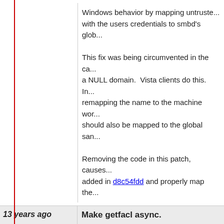Windows behavior by mapping untrusted... with the users credentials to smbd's glob...

This fix was being circumvented in the ca... a NULL domain. Vista clients do this. In... remapping the name to the machine wor... should also be mapped to the global san...

Removing the code in this patch, causes... added in d8c54fdd and properly map the...
13 years ago
Make getfacl async.
commit | commitdiff | tree
Jeremy Allison [Thu, 28 May 2009 20:0...
Make getfacl async.
Jeremy.
13 years ago
s3: fix building of pam_smbpass.
commit | commitdiff | tree
Bo Yang [Fri, 29 May 2009 08:10:19 +0...
s3: fix building of pam_smbpass.
Signed-off-by: Bo Yang <boyang@samb...